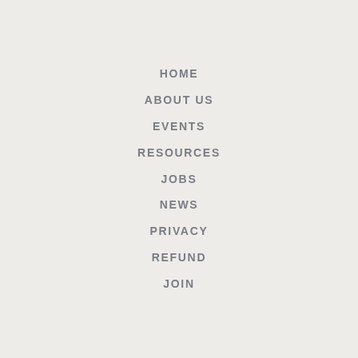HOME
ABOUT US
EVENTS
RESOURCES
JOBS
NEWS
PRIVACY
REFUND
JOIN